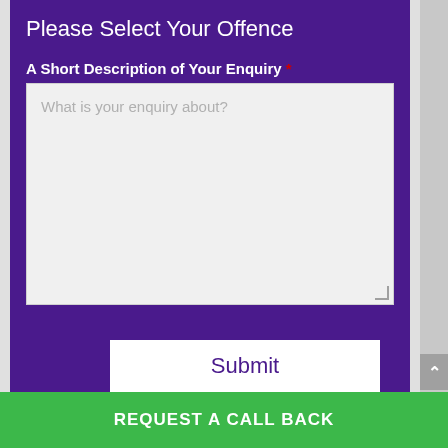Please Select Your Offence
A Short Description of Your Enquiry *
What is your enquiry about?
Submit
REQUEST A CALL BACK